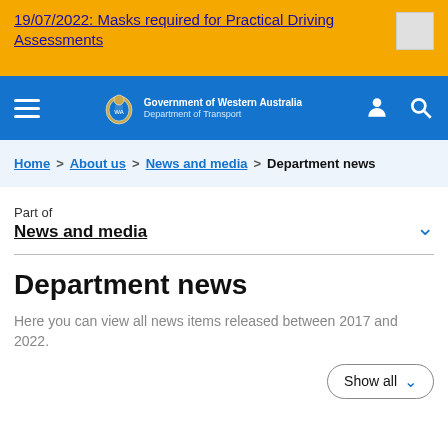19/07/2022: Masks required for Practical Driving Assessments
Government of Western Australia Department of Transport — navigation bar
Home > About us > News and media > Department news
Part of
News and media
Department news
Here you can view all news items released between 2017 and 2022.